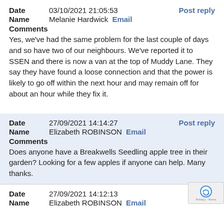Date  03/10/2021 21:05:53   Post reply
Name  Melanie Hardwick  Email
Comments
Yes, we've had the same problem for the last couple of days and so have two of our neighbours. We've reported it to SSEN and there is now a van at the top of Muddy Lane. They say they have found a loose connection and that the power is likely to go off within the next hour and may remain off for about an hour while they fix it.
Date  27/09/2021 14:14:27   Post reply
Name  Elizabeth ROBINSON  Email
Comments
Does anyone have a Breakwells Seedling apple tree in their garden? Looking for a few apples if anyone can help. Many thanks.
Date  27/09/2021 14:12:13   Pos
Name  Elizabeth ROBINSON  Email